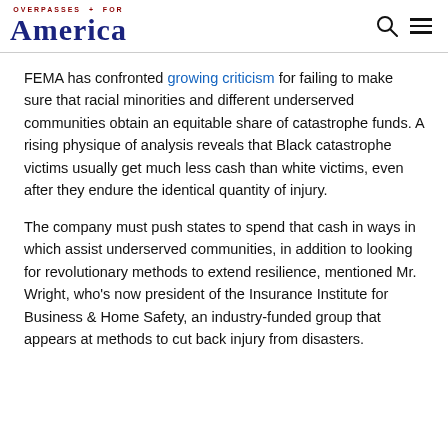OVERPASSES FOR America
FEMA has confronted growing criticism for failing to make sure that racial minorities and different underserved communities obtain an equitable share of catastrophe funds. A rising physique of analysis reveals that Black catastrophe victims usually get much less cash than white victims, even after they endure the identical quantity of injury.
The company must push states to spend that cash in ways in which assist underserved communities, in addition to looking for revolutionary methods to extend resilience, mentioned Mr. Wright, who's now president of the Insurance Institute for Business & Home Safety, an industry-funded group that appears at methods to cut back injury from disasters.